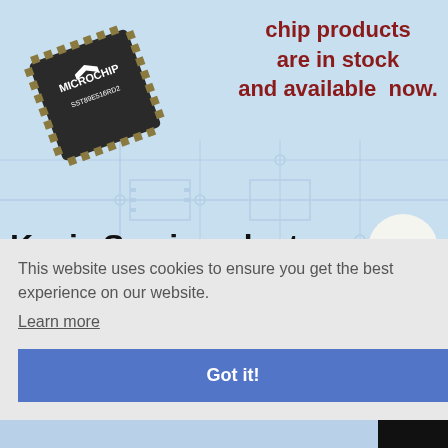[Figure (photo): Microchip / integrated circuit chip on light blue background with faint circuit board watermark]
chip products are in stock and available now.
Kynix Semiconductor
This website uses cookies to ensure you get the best experience on our website.
Learn more
Got it!